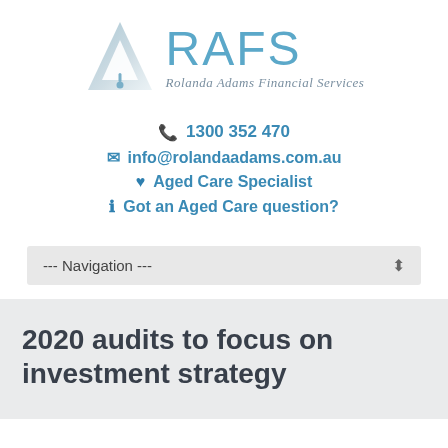[Figure (logo): RAFS - Rolanda Adams Financial Services logo with a triangular 'A' icon and styled text]
☎ 1300 352 470
✉ info@rolandaadams.com.au
♥ Aged Care Specialist
ⓘ Got an Aged Care question?
--- Navigation ---
2020 audits to focus on investment strategy